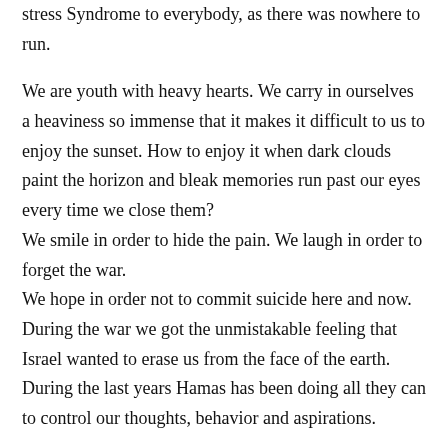stress Syndrome to everybody, as there was nowhere to run.
We are youth with heavy hearts. We carry in ourselves a heaviness so immense that it makes it difficult to us to enjoy the sunset. How to enjoy it when dark clouds paint the horizon and bleak memories run past our eyes every time we close them?
We smile in order to hide the pain. We laugh in order to forget the war.
We hope in order not to commit suicide here and now. During the war we got the unmistakable feeling that Israel wanted to erase us from the face of the earth. During the last years Hamas has been doing all they can to control our thoughts, behavior and aspirations.
We are a generation of young people used to face missiles, carrying what seems to be a impossible mission...